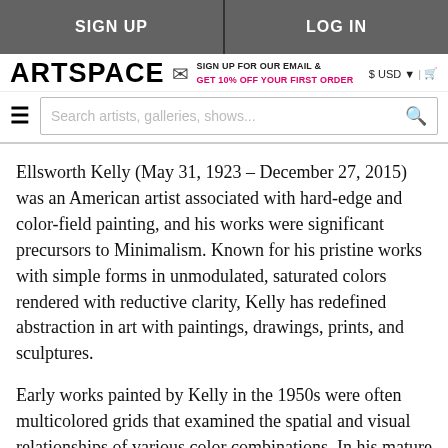SIGN UP | LOG IN
ARTSPACE — SIGN UP FOR OUR EMAIL & GET 10% OFF YOUR FIRST ORDER — $USD | cart
Search artists, galleries, shows...
Ellsworth Kelly (May 31, 1923 – December 27, 2015) was an American artist associated with hard-edge and color-field painting, and his works were significant precursors to Minimalism. Known for his pristine works with simple forms in unmodulated, saturated colors rendered with reductive clarity, Kelly has redefined abstraction in art with paintings, drawings, prints, and sculptures.
Early works painted by Kelly in the 1950s were often multicolored grids that examined the spatial and visual relationships of various color combinations. In his mature monochromatic work he continued this theme by distilling forms and sensitive spatial relationships, refined from observations of the world around him—plant and architectural forms, and other